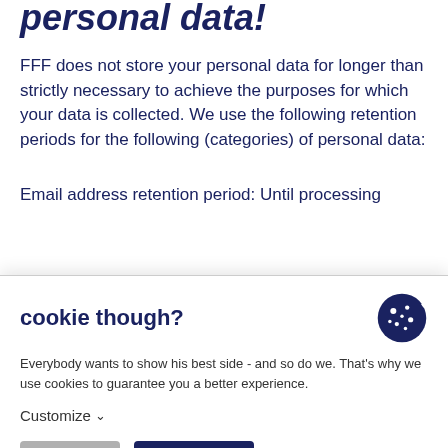personal data!
FFF does not store your personal data for longer than strictly necessary to achieve the purposes for which your data is collected. We use the following retention periods for the following (categories) of personal data:
Email address retention period: Until processing
cookie though?
Everybody wants to show his best side - and so do we. That's why we use cookies to guarantee you a better experience.
Customize
Decline  Accept all